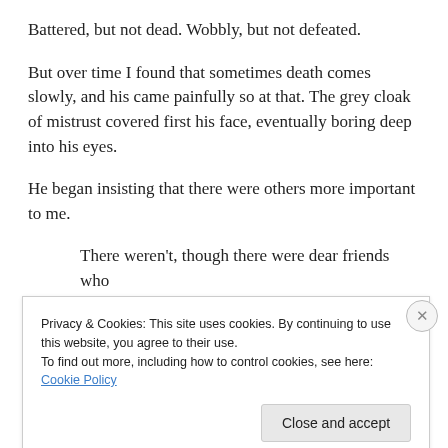Battered, but not dead. Wobbly, but not defeated.
But over time I found that sometimes death comes slowly, and his came painfully so at that. The grey cloak of mistrust covered first his face, eventually boring deep into his eyes.
He began insisting that there were others more important to me.
There weren't, though there were dear friends who
Privacy & Cookies: This site uses cookies. By continuing to use this website, you agree to their use.
To find out more, including how to control cookies, see here: Cookie Policy
Close and accept